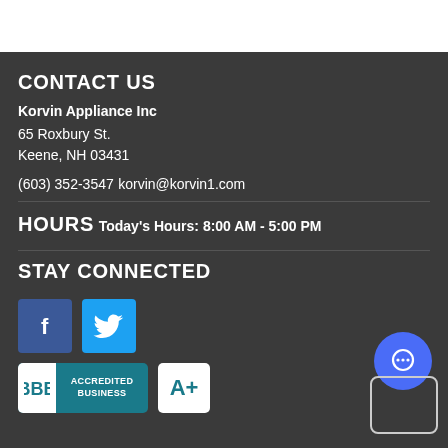CONTACT US
Korvin Appliance Inc
65 Roxbury St.
Keene, NH 03431
(603) 352-3547
korvin@korvin1.com
HOURS
Today's Hours: 8:00 AM - 5:00 PM
STAY CONNECTED
[Figure (logo): Facebook social media icon button (blue square with white 'f')]
[Figure (logo): Twitter social media icon button (light blue square with white bird)]
[Figure (logo): BBB Accredited Business badge (teal with white text)]
[Figure (logo): BBB A+ rating badge (white with teal A+)]